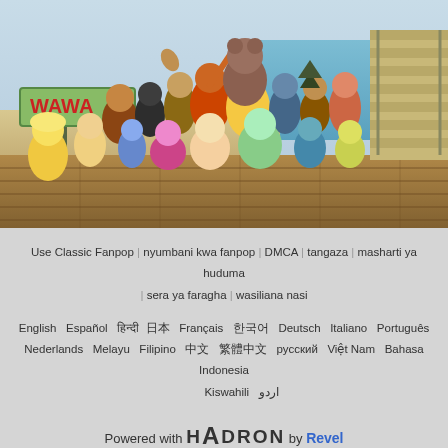[Figure (illustration): Cartoon group scene from Total Drama Island showing many animated characters on a dock with water and beach background, with a green WAWA sign on the left and stairs on the right]
Use Classic Fanpop | nyumbani kwa fanpop | DMCA | tangaza | masharti ya huduma | sera ya faragha | wasiliana nasi
English  Español  اردو  Filipino  русский  Việt Nam  Bahasa Indonesia  Nederlands  Melayu  Kiswahili  اردو  Français  Deutsch  Italiano  Português
Powered with HADRON by Revel
© 2006-2022 Fanpop, Inc., haki zote zimehifadhiwa. mshiriki wa Townsquare Entertainment News